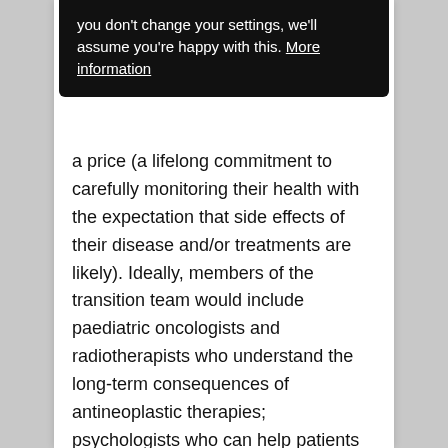you don't change your settings, we'll assume you're happy with this. More information
a price (a lifelong commitment to carefully monitoring their health with the expectation that side effects of their disease and/or treatments are likely). Ideally, members of the transition team would include paediatric oncologists and radiotherapists who understand the long-term consequences of antineoplastic therapies; psychologists who can help patients deal emotionally with very complex diseases; paediatric and adult endocrinologists who can provide follow-up and navigate hormonal issues; reproductive health specialists, nurse specialists to aid in coordinating care, dieticians to help patients manage their weight and diet; and social workers to provide assistance with reimbursement and employment.